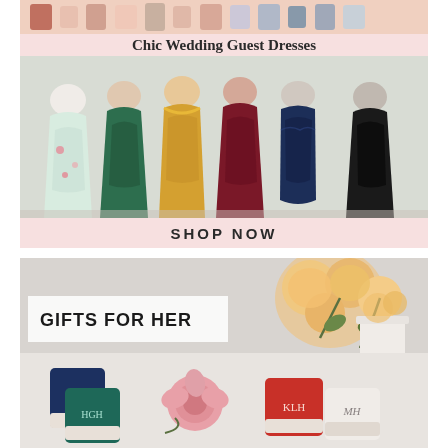[Figure (photo): Advertisement banner for Chic Wedding Guest Dresses showing a row of women in elegant dresses (floral wrap, emerald green, mustard yellow, burgundy, navy blue, black) with a pink background and 'SHOP NOW' call to action]
Chic Wedding Guest Dresses
SHOP NOW
[Figure (photo): Advertisement banner for Gifts For Her showing monogrammed ceramic mugs/vases in navy, teal, red, and white with pink roses and flowers in the background]
GIFTS FOR HER